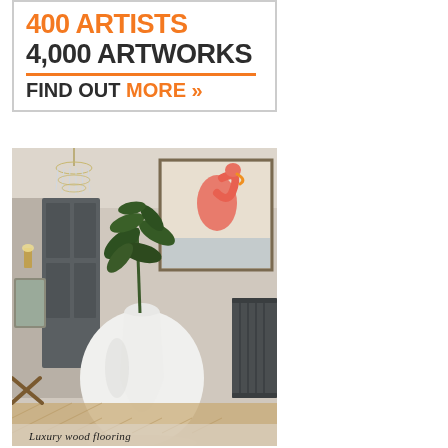[Figure (illustration): Advertisement banner with orange and dark text. Shows '400 ARTISTS' in orange, '4,000 ARTWORKS' in dark, orange horizontal divider line, then 'FIND OUT MORE >>' with MORE and arrows in orange.]
[Figure (photo): Interior room photo showing a luxury space with a crystal chandelier on the left, a flamingo artwork painting on the wall, a large white round ceramic vase with a green plant, a cast iron radiator on the right, dark grey panelled door, and herringbone wood flooring. Bottom edge shows partial text 'Luxury wood flooring'.]
Luxury wood flooring